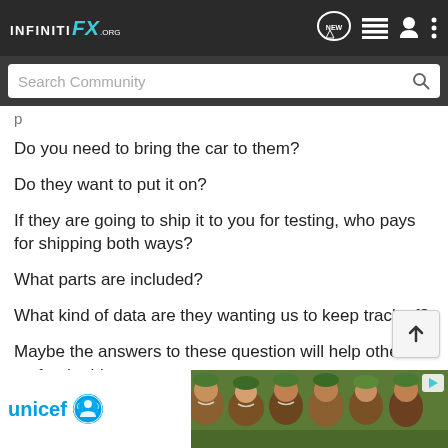INFINITI FX.ORG — Navigation bar with logo, NEW chat bubble, list icon, user icon, menu icon
Search Community
p (partial, cropped text at top of content area)
Do you need to bring the car to them?
Do they want to put it on?
If they are going to ship it to you for testing, who pays for shipping both ways?
What parts are included?
What kind of data are they wanting us to keep track of?
Maybe the answers to these question will help others go for the idea.
[Figure (photo): UNICEF advertisement overlay with logo and photo of smiling children in green hats]